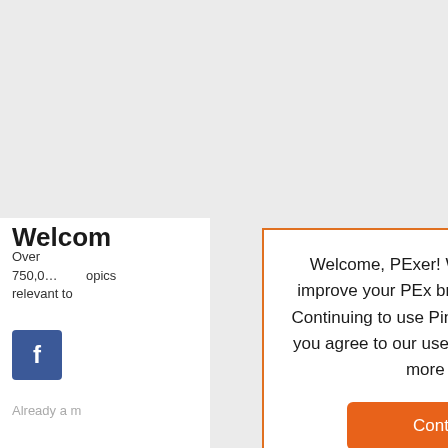[Figure (screenshot): Website background with light gray color]
Welcom
Over 750,0... topics relevant to
[Figure (logo): Facebook blue square button with white 'f' letter]
Already a m...
Welcome, PExer! We use cookies to improve your PEx browsing experience. Continuing to use PinoyExchange means you agree to our use of cookies. Find out more here.
Continue